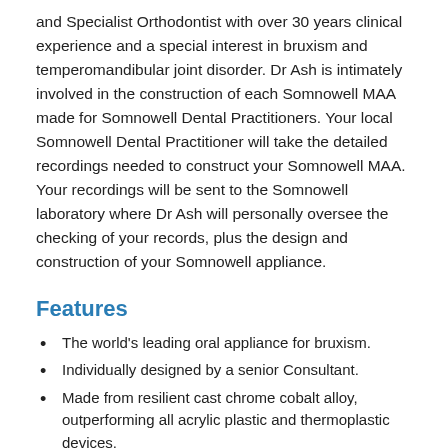and Specialist Orthodontist with over 30 years clinical experience and a special interest in bruxism and temperomandibular joint disorder. Dr Ash is intimately involved in the construction of each Somnowell MAA made for Somnowell Dental Practitioners. Your local Somnowell Dental Practitioner will take the detailed recordings needed to construct your Somnowell MAA. Your recordings will be sent to the Somnowell laboratory where Dr Ash will personally oversee the checking of your records, plus the design and construction of your Somnowell appliance.
Features
The world's leading oral appliance for bruxism.
Individually designed by a senior Consultant.
Made from resilient cast chrome cobalt alloy, outperforming all acrylic plastic and thermoplastic devices.
Best for oral hygiene, suitable for long term wear in the mouth.
Thin, small, and discreet, the Somnowell MAA is amazingly comfortable.
Minimal infringement on tongue space and free vertical and